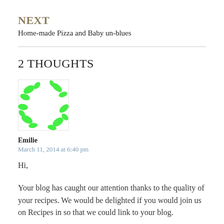NEXT
Home-made Pizza and Baby un-blues
2 THOUGHTS
[Figure (illustration): Avatar image with green leaf/flower shapes on white background]
Emilie
March 11, 2014 at 6:40 pm
Hi,
Your blog has caught our attention thanks to the quality of your recipes. We would be delighted if you would join us on Recipes in so that we could link to your blog.